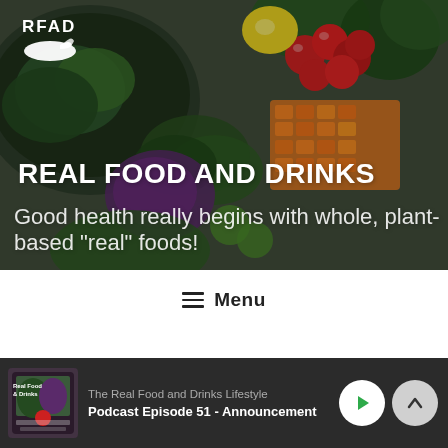[Figure (photo): Hero banner with food photography showing vegetables (tomatoes, carrots, greens, lemon) on a cutting board with RFAD logo and tagline overlay]
REAL FOOD AND DRINKS
Good health really begins with whole, plant-based "real" foods!
≡ Menu
TAG: HERBAL TEAS
The Real Food and Drinks Lifestyle Podcast Episode 51 - Announcement